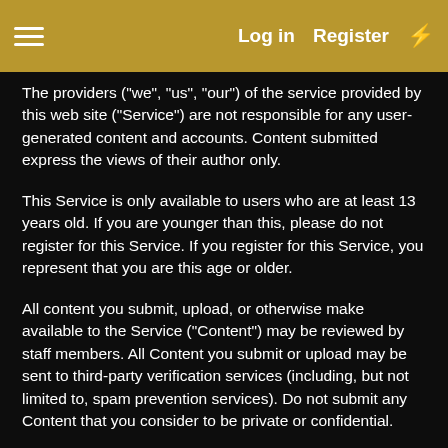Log in  Register
The providers ("we", "us", "our") of the service provided by this web site ("Service") are not responsible for any user-generated content and accounts. Content submitted express the views of their author only.
This Service is only available to users who are at least 13 years old. If you are younger than this, please do not register for this Service. If you register for this Service, you represent that you are this age or older.
All content you submit, upload, or otherwise make available to the Service ("Content") may be reviewed by staff members. All Content you submit or upload may be sent to third-party verification services (including, but not limited to, spam prevention services). Do not submit any Content that you consider to be private or confidential.
You agree to not use the Service to submit or link to any Content which is defamatory, abusive, hateful, threatening, spam or spam-like, likely to offend, contains adult or